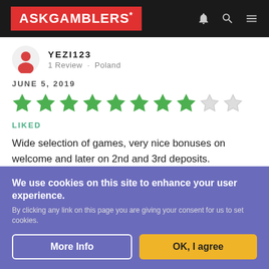ASKGAMBLERS*
YEZI123
1 Review · Poland
JUNE 5, 2019
[Figure (other): Star rating: 8 out of 10 green stars filled, 2 empty]
LIKED
Wide selection of games, very nice bonuses on welcome and later on 2nd and 3rd deposits.
Need to send docs right ahead sincr takes 24 hours to approve them before makind a withdraw
We use cookies on this site to enhance your user experience.
By clicking any link on this page you are giving your consent for us to set cookies.